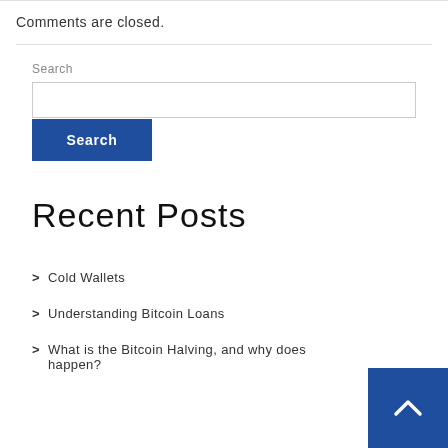Comments are closed.
Search
Search
Recent Posts
Cold Wallets
Understanding Bitcoin Loans
What is the Bitcoin Halving, and why does it happen?